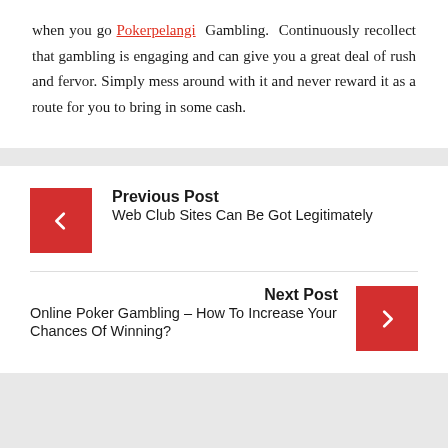when you go Pokerpelangi Gambling. Continuously recollect that gambling is engaging and can give you a great deal of rush and fervor. Simply mess around with it and never reward it as a route for you to bring in some cash.
Previous Post
Web Club Sites Can Be Got Legitimately
Next Post
Online Poker Gambling – How To Increase Your Chances Of Winning?